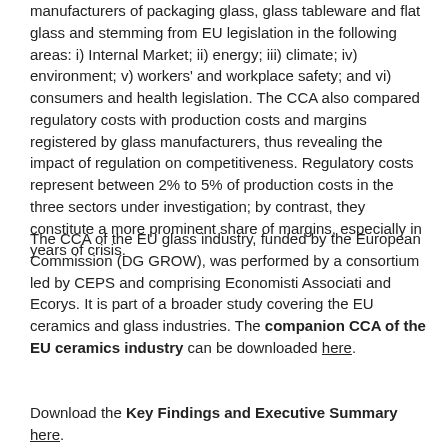manufacturers of packaging glass, glass tableware and flat glass and stemming from EU legislation in the following areas: i) Internal Market; ii) energy; iii) climate; iv) environment; v) workers' and workplace safety; and vi) consumers and health legislation. The CCA also compared regulatory costs with production costs and margins registered by glass manufacturers, thus revealing the impact of regulation on competitiveness. Regulatory costs represent between 2% to 5% of production costs in the three sectors under investigation; by contrast, they constitute a more prominent share of margins, especially in years of crisis.
The CCA of the EU glass industry, funded by the European Commission (DG GROW), was performed by a consortium led by CEPS and comprising Economisti Associati and Ecorys. It is part of a broader study covering the EU ceramics and glass industries. The companion CCA of the EU ceramics industry can be downloaded here.
Download the Key Findings and Executive Summary here.